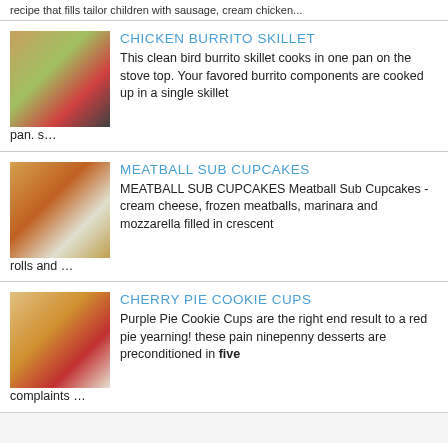recipe that fills tailor children with sausage, cream chicken...
CHICKEN BURRITO SKILLET
[Figure (photo): Photo of chicken burrito skillet dish with colorful toppings including vegetables and cheese]
This clean bird burrito skillet cooks in one pan on the stove top. Your favored burrito components are cooked up in a single skillet pan. s…
MEATBALL SUB CUPCAKES
[Figure (photo): Photo of meatball sub cupcakes - bread cups filled with meatballs]
MEATBALL SUB CUPCAKES Meatball Sub Cupcakes - cream cheese, frozen meatballs, marinara and mozzarella filled in crescent rolls and …
CHERRY PIE COOKIE CUPS
[Figure (photo): Photo of cherry pie cookie cups with cherries and cream on top]
Purple Pie Cookie Cups are the right end result to a red pie yearning! these pain ninepenny desserts are preconditioned in five complaints …